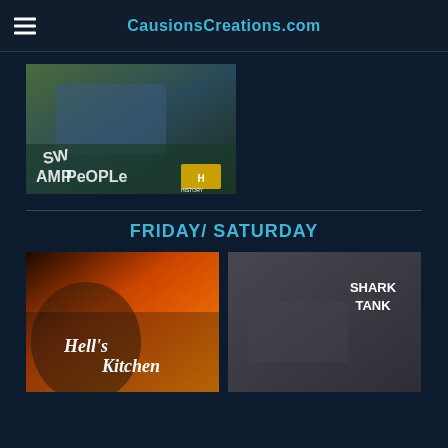CausionsCreations.com
[Figure (photo): Swamp People promotional image - men on a boat in a swamp with 'Swamp People' text and History channel logo]
FRIDAY/ SATURDAY
[Figure (photo): Hell's Kitchen promotional image with Gordon Ramsay and show logo on orange background]
[Figure (photo): Shark Tank promotional image with cast members and Shark Tank logo]